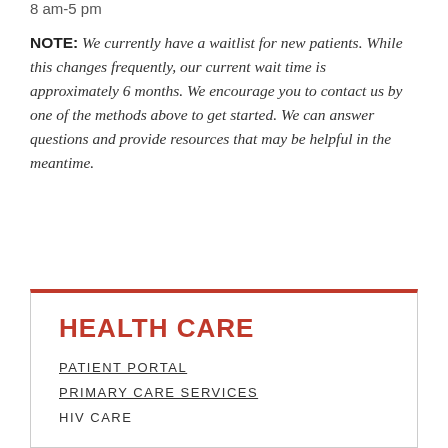8 am-5 pm
NOTE: We currently have a waitlist for new patients. While this changes frequently, our current wait time is approximately 6 months. We encourage you to contact us by one of the methods above to get started. We can answer questions and provide resources that may be helpful in the meantime.
HEALTH CARE
PATIENT PORTAL
PRIMARY CARE SERVICES
HIV CARE